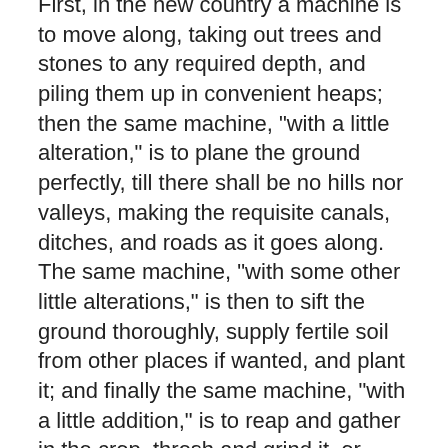First, in the new country a machine is to move along, taking out trees and stones to any required depth, and piling them up in convenient heaps; then the same machine, "with a little alteration," is to plane the ground perfectly, till there shall be no hills nor valleys, making the requisite canals, ditches, and roads as it goes along. The same machine, "with some other little alterations," is then to sift the ground thoroughly, supply fertile soil from other places if wanted, and plant it; and finally the same machine, "with a little addition," is to reap and gather in the crop, thresh and grind it, or press it to oil, or prepare it any way for final use. For the description of these machines we are referred to "Etzler's Mechanical System," pages 11 to 27. We should be pleased to see that "Mechanical System." We have great faith in it. But we cannot stop for applications now.
Who knows but by accumulating the power until the end of